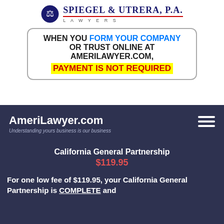[Figure (logo): Spiegel & Utrera, P.A. Lawyers logo with scales of justice icon]
WHEN YOU FORM YOUR COMPANY OR TRUST ONLINE AT AMERILAWYER.COM, PAYMENT IS NOT REQUIRED
AmeriLawyer.com
Understanding yours business is our business
California General Partnership
$119.95
For one low fee of $119.95, your California General Partnership is COMPLETE and